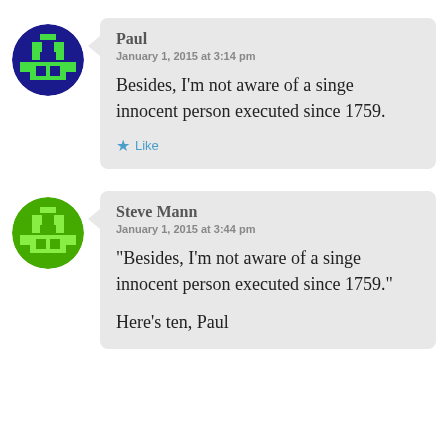[Figure (illustration): Blue circular avatar with a green pixel-art robot/character icon]
Paul
January 1, 2015 at 3:14 pm

Besides, I'm not aware of a singe innocent person executed since 1759.

★ Like
[Figure (illustration): Green circular avatar with a lighter green pixel-art robot/character icon]
Steve Mann
January 1, 2015 at 3:44 pm

“Besides, I’m not aware of a singe innocent person executed since 1759.”

Here’s ten, Paul